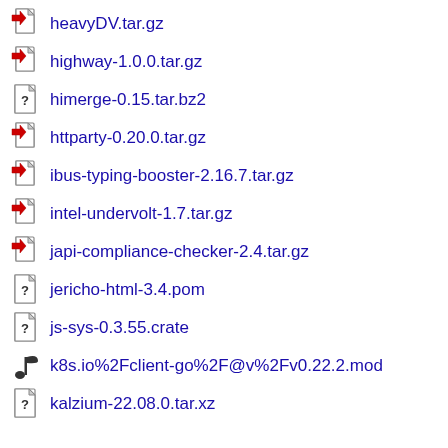heavyDV.tar.gz
highway-1.0.0.tar.gz
himerge-0.15.tar.bz2
httparty-0.20.0.tar.gz
ibus-typing-booster-2.16.7.tar.gz
intel-undervolt-1.7.tar.gz
japi-compliance-checker-2.4.tar.gz
jericho-html-3.4.pom
js-sys-0.3.55.crate
k8s.io%2Fclient-go%2F@v%2Fv0.22.2.mod
kalzium-22.08.0.tar.xz